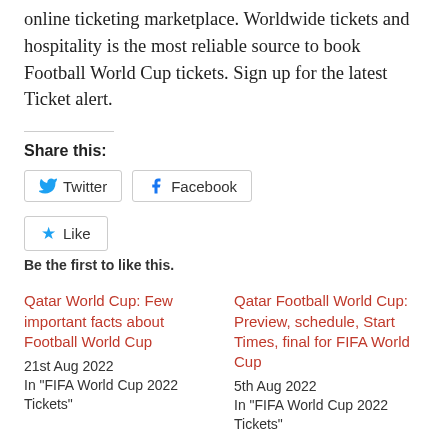online ticketing marketplace. Worldwide tickets and hospitality is the most reliable source to book Football World Cup tickets. Sign up for the latest Ticket alert.
Share this:
Twitter  Facebook
Like
Be the first to like this.
Qatar World Cup: Few important facts about Football World Cup
21st Aug 2022
In "FIFA World Cup 2022 Tickets"
Qatar Football World Cup: Preview, schedule, Start Times, final for FIFA World Cup
5th Aug 2022
In "FIFA World Cup 2022 Tickets"